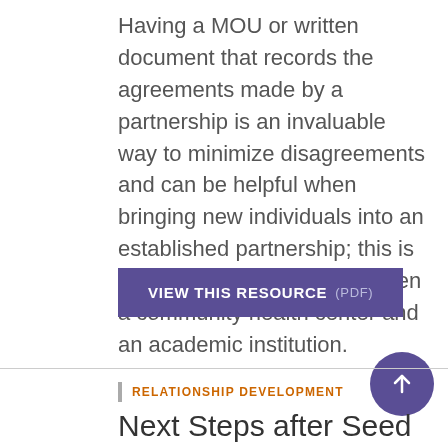Having a MOU or written document that records the agreements made by a partnership is an invaluable way to minimize disagreements and can be helpful when bringing new individuals into an established partnership; this is an example of a MOU between a community health center and an academic institution.
VIEW THIS RESOURCE (PDF)
RELATIONSHIP DEVELOPMENT
Next Steps after Seed Grants